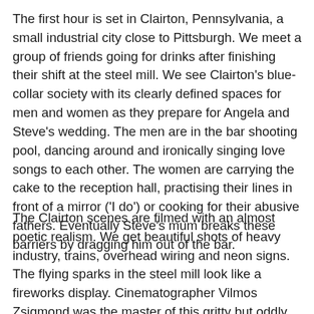The first hour is set in Clairton, Pennsylvania, a small industrial city close to Pittsburgh. We meet a group of friends going for drinks after finishing their shift at the steel mill. We see Clairton's blue-collar society with its clearly defined spaces for men and women as they prepare for Angela and Steve's wedding. The men are in the bar shooting pool, dancing around and ironically singing love songs to each other. The women are carrying the cake to the reception hall, practising their lines in front of a mirror ('I do') or cooking for their abusive fathers. Eventually Steve's mum breaks these barriers by dragging him out of the bar.
The Clairton scenes are filmed with an almost poetic realism. We get beautiful shots of heavy industry, trains, overhead wiring and neon signs. The flying sparks in the steel mill look like a fireworks display. Cinematographer Vilmos Zsigmond was the master of this gritty but oddly beautiful 1970s look – seen most perfectly in Robert Altman's McCabe and Mrs Miller